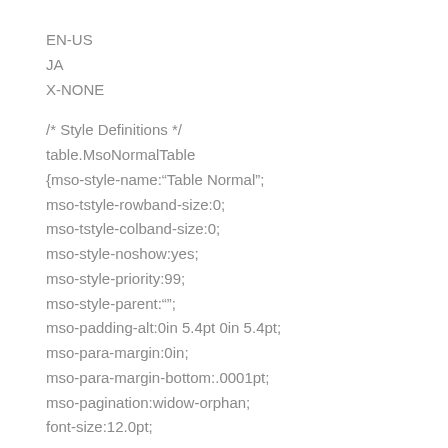EN-US
JA
X-NONE

/* Style Definitions */
table.MsoNormalTable
{mso-style-name:“Table Normal”;
mso-tstyle-rowband-size:0;
mso-tstyle-colband-size:0;
mso-style-noshow:yes;
mso-style-priority:99;
mso-style-parent:"";
mso-padding-alt:0in 5.4pt 0in 5.4pt;
mso-para-margin:0in;
mso-para-margin-bottom:.0001pt;
mso-pagination:widow-orphan;
font-size:12.0pt;